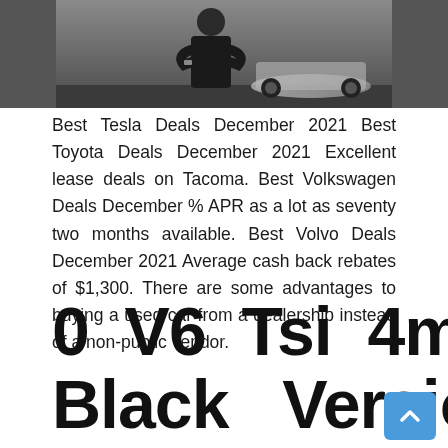[Figure (photo): Cropped photo of a person in dark clothing standing with arms crossed, partial view of a car in the background. Only the lower portion of the image is visible.]
Best Tesla Deals December 2021 Best Toyota Deals December 2021 Excellent lease deals on Tacoma. Best Volkswagen Deals December % APR as a lot as seventy two months available. Best Volvo Deals December 2021 Average cash back rebates of $1,300. There are some advantages to buying a used car from a dealership instead of a non-public vendor.
0 V6 Tsi 4motion Black Version 5dr Tip Auto